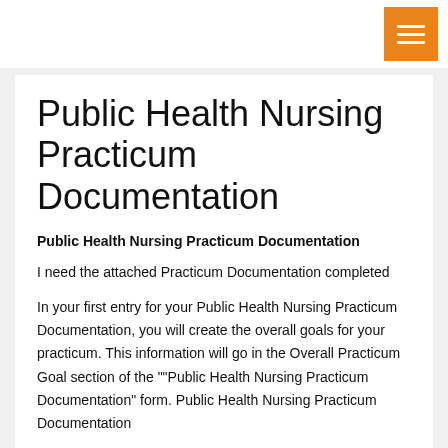Public Health Nursing Practicum Documentation
Public Health Nursing Practicum Documentation
I need the attached Practicum Documentation completed
In your first entry for your Public Health Nursing Practicum Documentation, you will create the overall goals for your practicum. This information will go in the Overall Practicum Goal section of the ""Public Health Nursing Practicum Documentation" form. Public Health Nursing Practicum Documentation
Use the S.M.A.R.T. goal format to write goals you have for your overall practicum experience. What do you want to accomplish